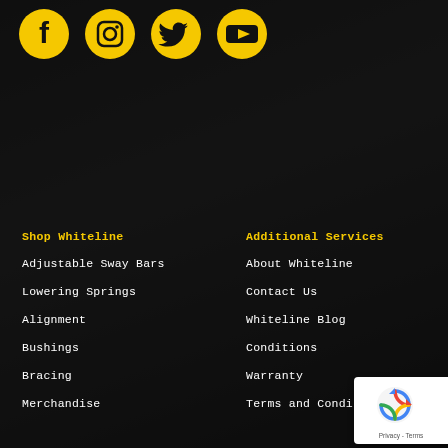[Figure (logo): Social media icons: Facebook, Instagram, Twitter, YouTube in yellow]
Shop Whiteline
Adjustable Sway Bars
Lowering Springs
Alignment
Bushings
Bracing
Merchandise
Additional Services
About Whiteline
Contact Us
Whiteline Blog
Conditions
Warranty
Terms and Conditions
[Figure (logo): Google reCAPTCHA badge with Privacy and Terms text]